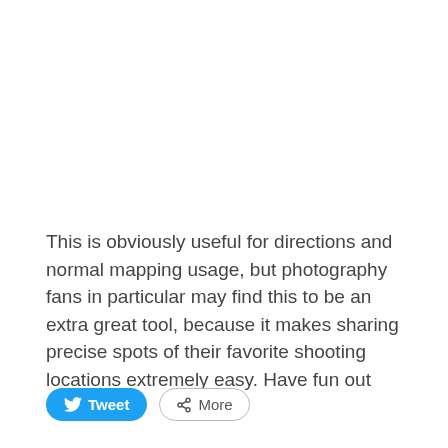This is obviously useful for directions and normal mapping usage, but photography fans in particular may find this to be an extra great tool, because it makes sharing precise spots of their favorite shooting locations extremely easy. Have fun out there!
[Figure (other): Tweet button (blue rounded pill) and More button (outlined rounded pill with share icon)]
Related